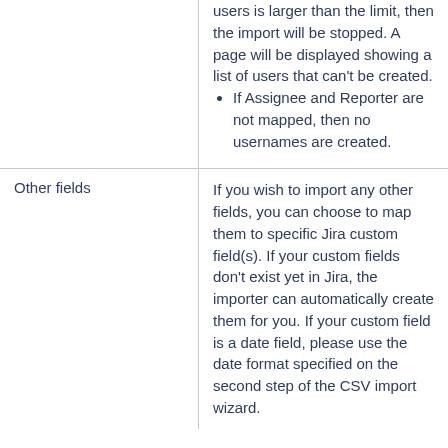|  | users is larger than the limit, then the import will be stopped. A page will be displayed showing a list of users that can't be created.
If Assignee and Reporter are not mapped, then no usernames are created. |
| Other fields | If you wish to import any other fields, you can choose to map them to specific Jira custom field(s). If your custom fields don't exist yet in Jira, the importer can automatically create them for you. If your custom field is a date field, please use the date format specified on the second step of the CSV import wizard. |